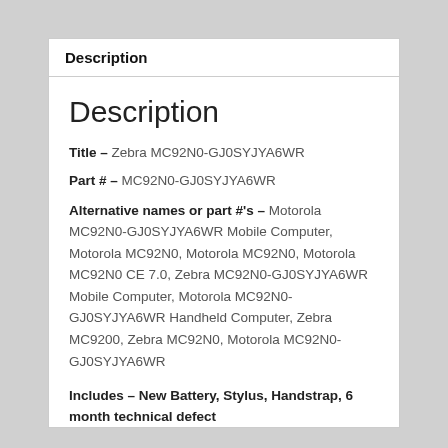Description
Description
Title – Zebra MC92N0-GJ0SYJYA6WR
Part # – MC92N0-GJ0SYJYA6WR
Alternative names or part #'s – Motorola MC92N0-GJ0SYJYA6WR Mobile Computer, Motorola MC92N0, Motorola MC92N0, Motorola MC92N0 CE 7.0, Zebra MC92N0-GJ0SYJYA6WR Mobile Computer, Motorola MC92N0-GJ0SYJYA6WR Handheld Computer, Zebra MC9200, Zebra MC92N0, Motorola MC92N0-GJ0SYJYA6WR
Includes – New Battery, Stylus, Handstrap, 6 month technical defect warranty and technical support